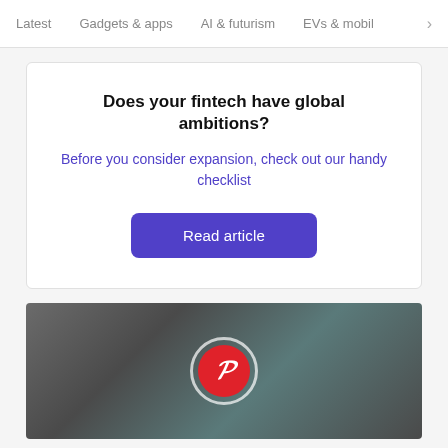Latest   Gadgets & apps   AI & futurism   EVs & mobil  >
Does your fintech have global ambitions?
Before you consider expansion, check out our handy checklist
Read article
[Figure (photo): Blurred background image showing Pinterest logo — a red circle with a white cursive P, surrounded by a white ring outline, centered over a dark blurred scene.]